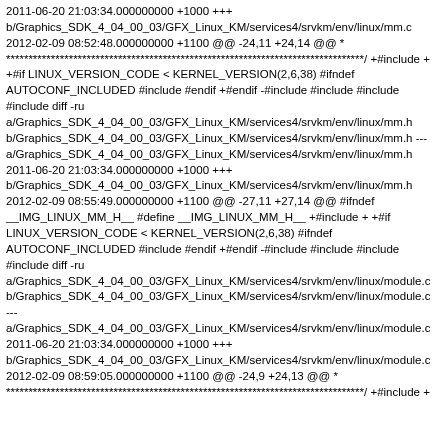2011-06-20 21:03:34.000000000 +1000 +++ b/Graphics_SDK_4_04_00_03/GFX_Linux_KM/services4/srvkm/env/linux/mm.c 2012-02-09 08:52:48.000000000 +1100 @@ -24,11 +24,14 @@ * ********************************************************************************/ +#include + +#if LINUX_VERSION_CODE < KERNEL_VERSION(2,6,38) #ifndef AUTOCONF_INCLUDED #include #endif +#endif -#include #include #include #include diff -ru a/Graphics_SDK_4_04_00_03/GFX_Linux_KM/services4/srvkm/env/linux/mm.h b/Graphics_SDK_4_04_00_03/GFX_Linux_KM/services4/srvkm/env/linux/mm.h --- a/Graphics_SDK_4_04_00_03/GFX_Linux_KM/services4/srvkm/env/linux/mm.h 2011-06-20 21:03:34.000000000 +1000 +++ b/Graphics_SDK_4_04_00_03/GFX_Linux_KM/services4/srvkm/env/linux/mm.h 2012-02-09 08:55:49.000000000 +1100 @@ -27,11 +27,14 @@ #ifndef __IMG_LINUX_MM_H__ #define __IMG_LINUX_MM_H__ +#include + +#if LINUX_VERSION_CODE < KERNEL_VERSION(2,6,38) #ifndef AUTOCONF_INCLUDED #include #endif +#endif -#include #include #include #include diff -ru a/Graphics_SDK_4_04_00_03/GFX_Linux_KM/services4/srvkm/env/linux/module.c b/Graphics_SDK_4_04_00_03/GFX_Linux_KM/services4/srvkm/env/linux/module.c --- a/Graphics_SDK_4_04_00_03/GFX_Linux_KM/services4/srvkm/env/linux/module.c 2011-06-20 21:03:34.000000000 +1000 +++ b/Graphics_SDK_4_04_00_03/GFX_Linux_KM/services4/srvkm/env/linux/module.c 2012-02-09 08:59:05.000000000 +1100 @@ -24,9 +24,13 @@ * ********************************************************************************/ +#include +